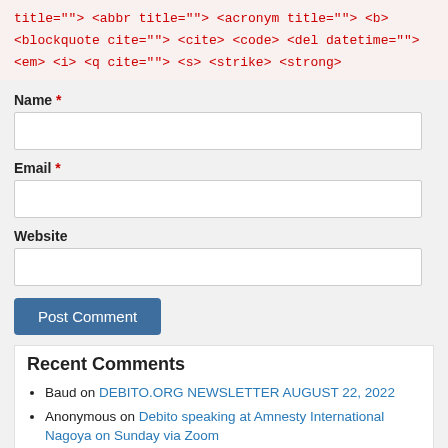title=""> <abbr title=""> <acronym title=""> <b> <blockquote cite=""> <cite> <code> <del datetime=""> <em> <i> <q cite=""> <s> <strike> <strong>
Name *
Email *
Website
Post Comment
Recent Comments
Baud on DEBITO.ORG NEWSLETTER AUGUST 22, 2022
Anonymous on Debito speaking at Amnesty International Nagoya on Sunday via Zoom